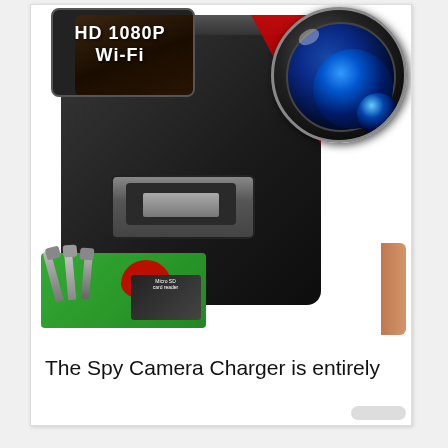[Figure (photo): Product photo of a spy camera hidden inside a USB wall charger. The charger is black with a red accent, a USB port, and a large camera lens visible on top-right. Below are smaller images of USB accessories with green gift background, a card reader, and a smartphone displaying 'HD 1080P Wi-Fi' on screen held by a hand.]
The Spy Camera Charger is entirely